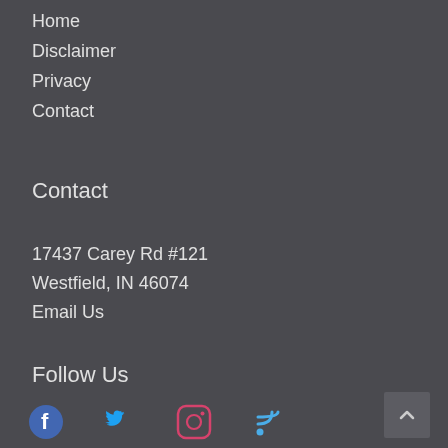Home
Disclaimer
Privacy
Contact
Contact
17437 Carey Rd #121
Westfield, IN 46074
Email Us
Follow Us
[Figure (infographic): Social media icons: Facebook (blue circle with f), Twitter (blue bird), Instagram (pink/red rounded square camera icon), RSS feed (blue signal waves). Plus a scroll-to-top button (chevron up on grey background) in the bottom right corner.]